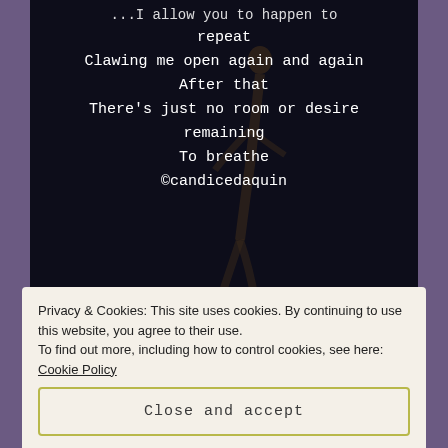[Figure (photo): Dark background poetry card with white monospace text showing poem lines ending in 'repeat / Clawing me open again and again / After that / There's just no room or desire remaining / To breathe / @candicedaquin' with a dancer silhouette and Mirakee logo badge in lower right.]
Privacy & Cookies: This site uses cookies. By continuing to use this website, you agree to their use.
To find out more, including how to control cookies, see here: Cookie Policy
Close and accept